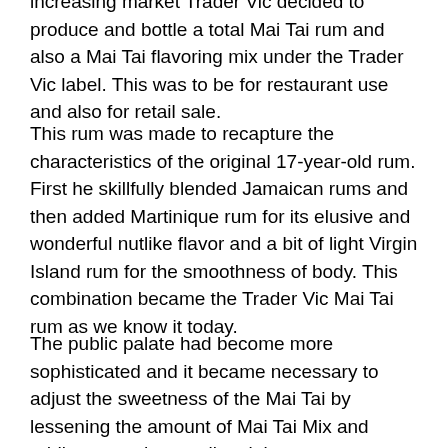increasing market Trader Vic decided to produce and bottle a total Mai Tai rum and also a Mai Tai flavoring mix under the Trader Vic label. This was to be for restaurant use and also for retail sale.
This rum was made to recapture the characteristics of the original 17-year-old rum. First he skillfully blended Jamaican rums and then added Martinique rum for its elusive and wonderful nutlike flavor and a bit of light Virgin Island rum for the smoothness of body. This combination became the Trader Vic Mai Tai rum as we know it today.
The public palate had become more sophisticated and it became necessary to adjust the sweetness of the Mai Tai by lessening the amount of Mai Tai Mix and adding a touch more lime juice.